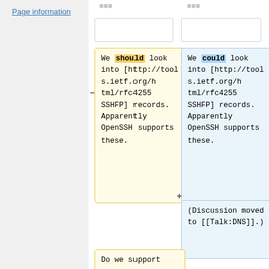Page information
===
===
We should look into [http://tools.ietf.org/html/rfc4255 SSHFP] records. Apparently OpenSSH supports these.
We could look into [http://tools.ietf.org/html/rfc4255 SSHFP] records. Apparently OpenSSH supports these.
(Discussion moved to [[Talk:DNS]].)
Do we support